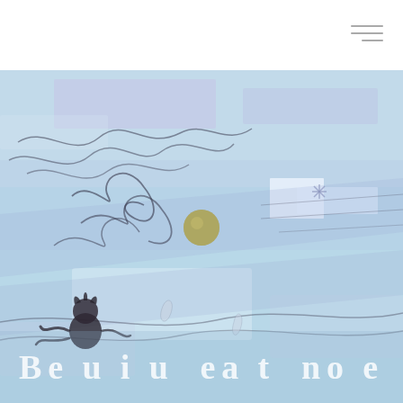[Figure (illustration): Abstract painting with pale blue background featuring dark scribbled lines, a small golden/olive circle in the center, pale lavender and white rectangular shapes, and a dark creature figure in the lower left. Overall soft, dreamy, aqueous color palette.]
Beautiful note